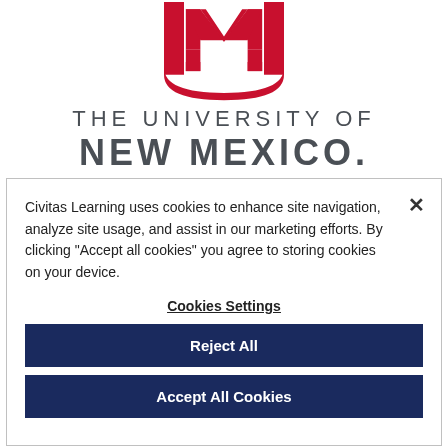[Figure (logo): University of New Mexico logo — interlocking NM lettermark in crimson red above the text 'THE UNIVERSITY OF NEW MEXICO.' in dark gray]
Civitas Learning uses cookies to enhance site navigation, analyze site usage, and assist in our marketing efforts. By clicking "Accept all cookies" you agree to storing cookies on your device.
Cookies Settings
Reject All
Accept All Cookies